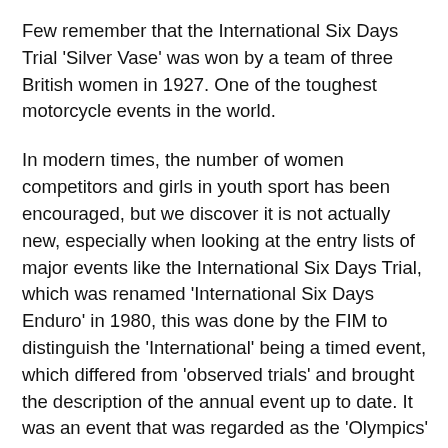Few remember that the International Six Days Trial 'Silver Vase' was won by a team of three British women in 1927. One of the toughest motorcycle events in the world.
In modern times, the number of women competitors and girls in youth sport has been encouraged, but we discover it is not actually new, especially when looking at the entry lists of major events like the International Six Days Trial, which was renamed 'International Six Days Enduro' in 1980, this was done by the FIM to distinguish the 'International' being a timed event, which differed from 'observed trials' and brought the description of the annual event up to date. It was an event that was regarded as the 'Olympics' of motorcycle sport and of course women were allowed to compete in the event. The Scottish Six Days Trial was similar with female competitors having entered right